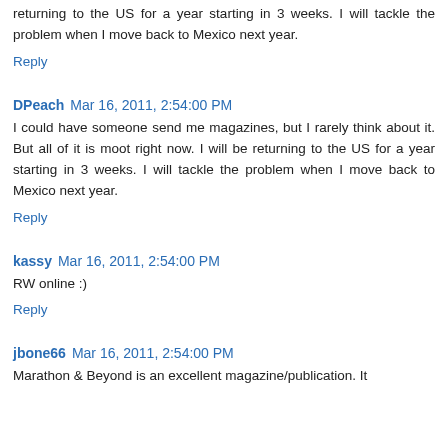returning to the US for a year starting in 3 weeks. I will tackle the problem when I move back to Mexico next year.
Reply
DPeach  Mar 16, 2011, 2:54:00 PM
I could have someone send me magazines, but I rarely think about it. But all of it is moot right now. I will be returning to the US for a year starting in 3 weeks. I will tackle the problem when I move back to Mexico next year.
Reply
kassy  Mar 16, 2011, 2:54:00 PM
RW online :)
Reply
jbone66  Mar 16, 2011, 2:54:00 PM
Marathon & Beyond is an excellent magazine/publication. It